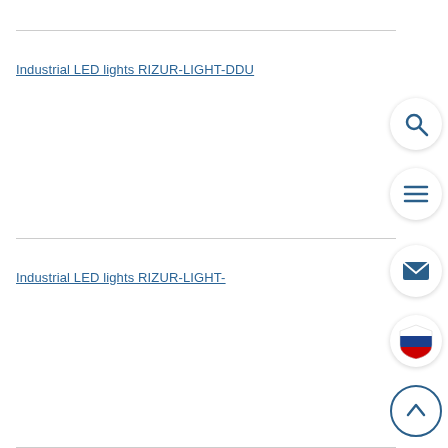Industrial LED lights RIZUR-LIGHT-DDU
[Figure (other): Search icon (magnifying glass) in a white circle with shadow]
[Figure (other): Hamburger menu icon (three horizontal lines) in a white circle with shadow]
[Figure (other): Envelope/mail icon in a white circle with shadow]
Industrial LED lights RIZUR-LIGHT-
[Figure (other): Russian flag shield icon in a white circle with shadow]
[Figure (other): Up arrow chevron in a white circle with outline border]